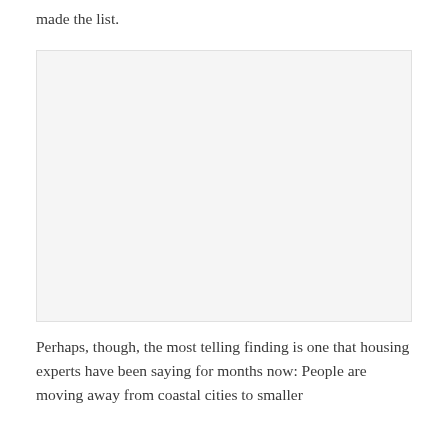made the list.
[Figure (photo): Large image placeholder, light gray background]
Perhaps, though, the most telling finding is one that housing experts have been saying for months now: People are moving away from coastal cities to smaller